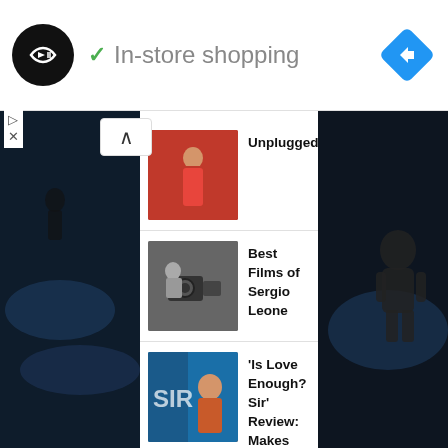In-store shopping
Unplugged
Best Films of Sergio Leone
'Is Love Enough? Sir' Review: Makes you think and never diverts from its intention
'Westworld - Season 4' Review: It does have its moments but the show is still struggling to rediscover its old magic